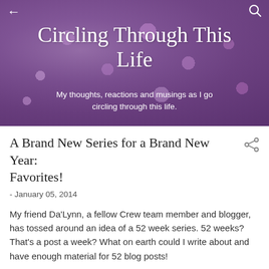Circling Through This Life
My thoughts, reactions and musings as I go circling through this life.
A Brand New Series for a Brand New Year: Favorites!
- January 05, 2014
My friend Da'Lynn, a fellow Crew team member and blogger, has tossed around an idea of a 52 week series.  52 weeks?  That's a post a week?  What on earth could I write about and have enough material for 52 blog posts!
I stewed.  I pondered. I showered.  (Hey I do some of my best planning and thinking in the shower!) Inspired by discussions with my family about favorites (e.g. favorite